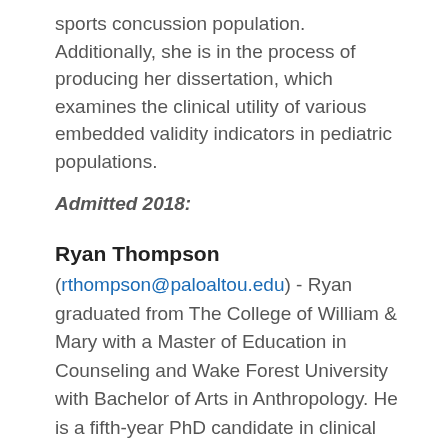sports concussion population. Additionally, she is in the process of producing her dissertation, which examines the clinical utility of various embedded validity indicators in pediatric populations.
Admitted 2018:
Ryan Thompson (rthompson@paloaltou.edu) - Ryan graduated from The College of William & Mary with a Master of Education in Counseling and Wake Forest University with Bachelor of Arts in Anthropology. He is a fifth-year PhD candidate in clinical psychology, completing a major area of study in neuropsychology. His dissertation